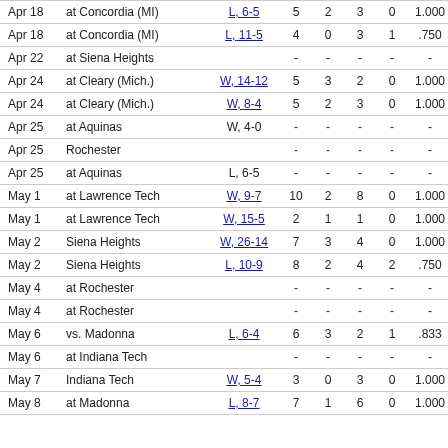| Date | Opponent | Result | PO | A | E | DP | Pct | PB | CI |
| --- | --- | --- | --- | --- | --- | --- | --- | --- | --- |
| Apr 18 | at Concordia (MI) | L, 6-5 | 5 | 2 | 3 | 0 | 1.000 | 1 | - |
| Apr 18 | at Concordia (MI) | L, 11-5 | 4 | 0 | 3 | 1 | .750 | 1 | - |
| Apr 22 | at Siena Heights |  | - | - | - | - | - | - | - |
| Apr 24 | at Cleary (Mich.) | W, 14-12 | 5 | 3 | 2 | 0 | 1.000 | - | - |
| Apr 24 | at Cleary (Mich.) | W, 8-4 | 5 | 2 | 3 | 0 | 1.000 | - | - |
| Apr 25 | at Aquinas | W, 4-0 | - | - | - | - | - | - | - |
| Apr 25 | Rochester |  | - | - | - | - | - | - | - |
| Apr 25 | at Aquinas | L, 6-5 | - | - | - | - | - | - | - |
| May 1 | at Lawrence Tech | W, 9-7 | 10 | 2 | 8 | 0 | 1.000 | 3 | - |
| May 1 | at Lawrence Tech | W, 15-5 | 2 | 1 | 1 | 0 | 1.000 | - | - |
| May 2 | Siena Heights | W, 26-14 | 7 | 3 | 4 | 0 | 1.000 | 1 | - |
| May 2 | Siena Heights | L, 10-9 | 8 | 2 | 4 | 2 | .750 | - | - |
| May 4 | at Rochester |  | - | - | - | - | - | - | - |
| May 4 | at Rochester |  | - | - | - | - | - | - | - |
| May 6 | vs. Madonna | L, 6-4 | 6 | 3 | 2 | 1 | .833 | - | - |
| May 6 | at Indiana Tech |  | - | - | - | - | - | - | - |
| May 7 | Indiana Tech | W, 5-4 | 3 | 0 | 3 | 0 | 1.000 | 1 | - |
| May 8 | at Madonna | L, 8-7 | 7 | 1 | 6 | 0 | 1.000 | 2 | - |